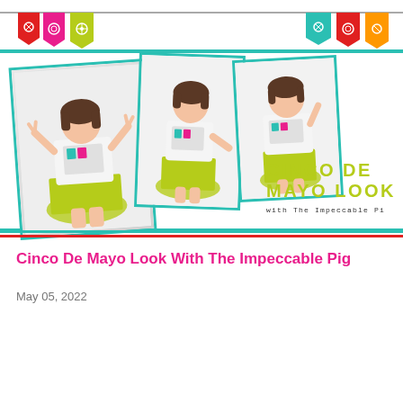[Figure (photo): Blog post header image with three photos of a young woman wearing a white graphic t-shirt and yellow-green ruffled skirt, arranged as polaroid-style frames with teal borders, overlaid on a white background with colorful papel picado banner decorations at top. Large text reads 'CINCO DE MAYO LOOK with The Impeccable Pi']
Cinco De Mayo Look With The Impeccable Pig
May 05, 2022